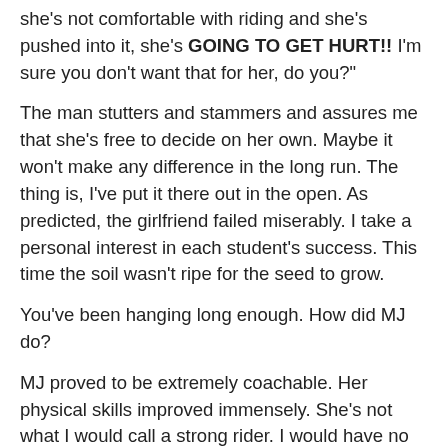she's not comfortable with riding and she's pushed into it, she's GOING TO GET HURT!! I'm sure you don't want that for her, do you?"
The man stutters and stammers and assures me that she's free to decide on her own. Maybe it won't make any difference in the long run. The thing is, I've put it there out in the open. As predicted, the girlfriend failed miserably. I take a personal interest in each student's success. This time the soil wasn't ripe for the seed to grow.
You've been hanging long enough. How did MJ do?
MJ proved to be extremely coachable. Her physical skills improved immensely. She's not what I would call a strong rider. I would have no problem with using the word "competent". I'm comfortable with her working her way to riding on the streets. MJ has the foundation to build on. A foundation that her dream can realistically be built upon.
I didn't tell any of the students about their pass or fail status until the final debriefing Sunday afternoon. If they all pass I